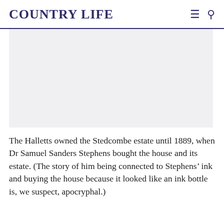COUNTRY LIFE
[Figure (photo): Image placeholder area with light gray background, representing a photo related to the Stedcombe estate article.]
The Halletts owned the Stedcombe estate until 1889, when Dr Samuel Sanders Stephens bought the house and its estate. (The story of him being connected to Stephens’ ink and buying the house because it looked like an ink bottle is, we suspect, apocryphal.)